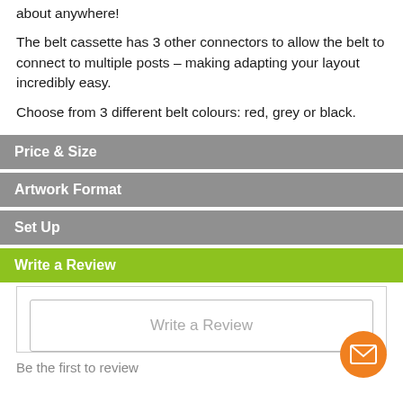about anywhere!
The belt cassette has 3 other connectors to allow the belt to connect to multiple posts – making adapting your layout incredibly easy.
Choose from 3 different belt colours: red, grey or black.
Price & Size
Artwork Format
Set Up
Write a Review
Write a Review
Be the first to review